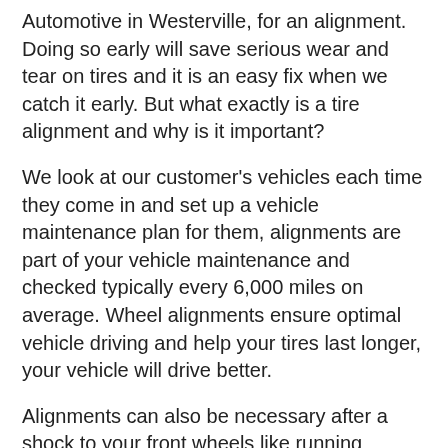Automotive in Westerville, for an alignment.  Doing so early will save serious wear and tear on tires and it is an easy fix when we catch it early.  But what exactly is a tire alignment and why is it important?
We look at our customer's vehicles each time they come in and set up a vehicle maintenance plan for them, alignments are part of your vehicle maintenance and checked typically every 6,000 miles on average. Wheel alignments ensure optimal vehicle driving and help your tires last longer, your vehicle will drive better.
Alignments can also be necessary after a shock to your front wheels like running through a pothole or hitting a curb on our local streets here in Westerville. The suspension and front end assembly of your vehicle you drive are comprised of many different components, which keep your tires centered and resting flat on the pavement. When things wear out or move over a fairly